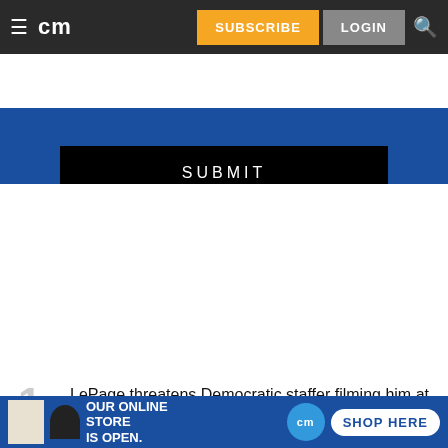cm | SUBSCRIBE | LOGIN
[Figure (screenshot): Blue background area with black SUBMIT button]
MOST READ STORIES
1 LePage threatens Democratic staffer filming him at campaign event
2 Meet the Farmington man who sells his paintings next to his car downtown
[Figure (infographic): Bottom ad banner: OUR ONLINE STORE IS OPEN. cm SHOP HERE]